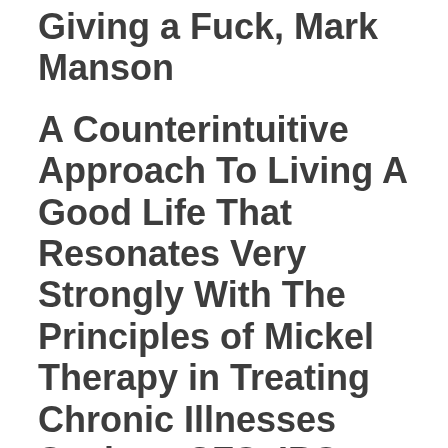Giving a Fuck, Mark Manson
A Counterintuitive Approach To Living A Good Life That Resonates Very Strongly With The Principles of Mickel Therapy in Treating Chronic Illnesses Such as CFS, IBS, Fibromyalgia